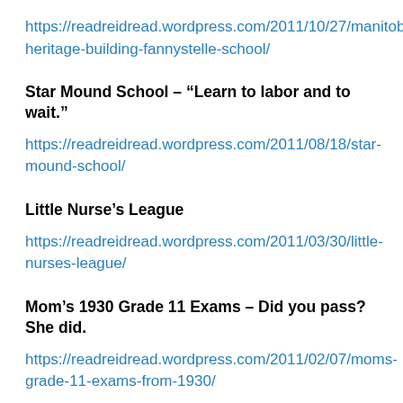https://readreidread.wordpress.com/2011/10/27/manitoba-heritage-building-fannystelle-school/
Star Mound School – “Learn to labor and to wait.”
https://readreidread.wordpress.com/2011/08/18/star-mound-school/
Little Nurse’s League
https://readreidread.wordpress.com/2011/03/30/little-nurses-league/
Mom’s 1930 Grade 11 Exams – Did you pass? She did.
https://readreidread.wordpress.com/2011/02/07/moms-grade-11-exams-from-1930/
https://readreidread.wordpress.com/2011/02/21/more-of-